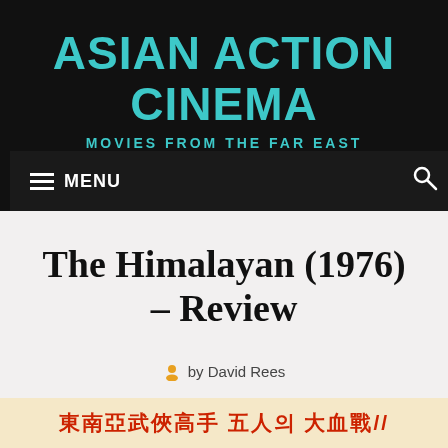ASIAN ACTION CINEMA — MOVIES FROM THE FAR EAST
The Himalayan (1976) – Review
by David Rees
[Figure (photo): Bottom strip showing Korean/Chinese text from a movie poster, red characters]